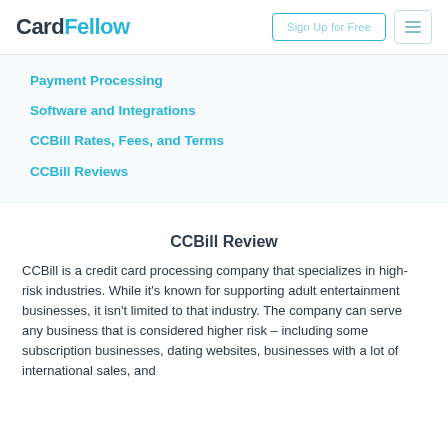CardFellow
Payment Processing
Software and Integrations
CCBill Rates, Fees, and Terms
CCBill Reviews
CCBill Review
CCBill is a credit card processing company that specializes in high-risk industries. While it's known for supporting adult entertainment businesses, it isn't limited to that industry. The company can serve any business that is considered higher risk – including some subscription businesses, dating websites, businesses with a lot of international sales, and